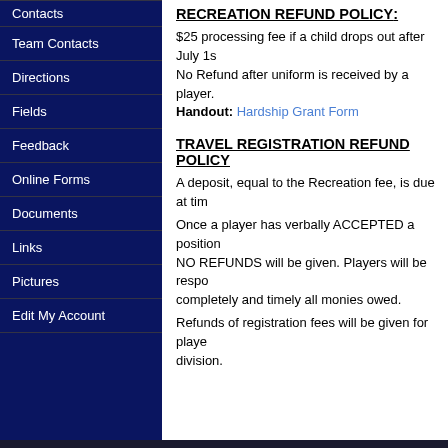Contacts
Team Contacts
Directions
Fields
Feedback
Online Forms
Documents
Links
Pictures
Edit My Account
RECREATION REFUND POLICY:
$25 processing fee if a child drops out after July 1s No Refund after uniform is received by a player. Handout: Hardship Grant Form
TRAVEL REGISTRATION REFUND POLICY
A deposit, equal to the Recreation fee, is due at tim
Once a player has verbally ACCEPTED a position NO REFUNDS will be given. Players will be respo completely and timely all monies owed.
Refunds of registration fees will be given for playe division.